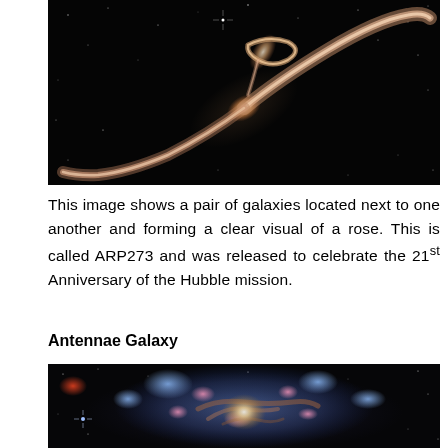[Figure (photo): Hubble Space Telescope image of ARP273, a pair of interacting galaxies forming a rose-like shape against a black background. The larger galaxy shows a sweeping spiral arm arcing upward.]
This image shows a pair of galaxies located next to one another and forming a clear visual of a rose. This is called ARP273 and was released to celebrate the 21st Anniversary of the Hubble mission.
Antennae Galaxy
[Figure (photo): Hubble Space Telescope image of the Antennae Galaxy, showing a colorful interacting galaxy pair with bright blue star-forming regions, pink clouds, and a bright central core, against a black background.]